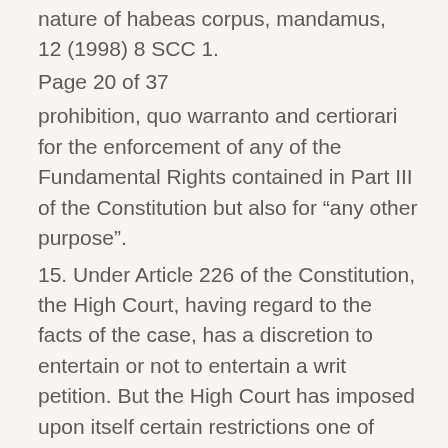nature of habeas corpus, mandamus, 12 (1998) 8 SCC 1.
Page 20 of 37
prohibition, quo warranto and certiorari for the enforcement of any of the Fundamental Rights contained in Part III of the Constitution but also for “any other purpose”.
15. Under Article 226 of the Constitution, the High Court, having regard to the facts of the case, has a discretion to entertain or not to entertain a writ petition. But the High Court has imposed upon itself certain restrictions one of which is that if an effective and efficacious remedy is available, the High Court would not normally exercise its jurisdiction. But the alternative remedy has been